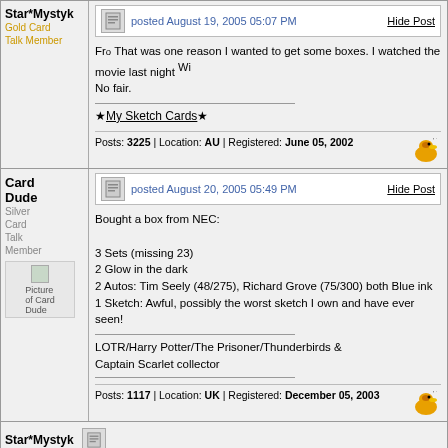Star*Mystyk
Gold Card Talk Member
posted August 19, 2005 05:07 PM
Fro That was one reason I wanted to get some boxes. I watched the movie last night Wi
No fair.
★My Sketch Cards★
Posts: 3225 | Location: AU | Registered: June 05, 2002
Card Dude
Silver Card Talk Member
posted August 20, 2005 05:49 PM
Bought a box from NEC:

3 Sets (missing 23)
2 Glow in the dark
2 Autos: Tim Seely (48/275), Richard Grove (75/300) both Blue ink
1 Sketch: Awful, possibly the worst sketch I own and have ever seen!
LOTR/Harry Potter/The Prisoner/Thunderbirds & Captain Scarlet collector
Posts: 1117 | Location: UK | Registered: December 05, 2003
Star*Mystyk